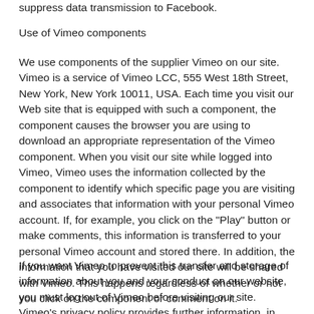suppress data transmission to Facebook.
Use of Vimeo components
We use components of the supplier Vimeo on our site.  Vimeo is a service of Vimeo LCC, 555 West 18th Street, New York, New York 10011, USA. Each time you visit our Web site that is equipped with such a component, the component causes the browser you are using to download an appropriate representation of the Vimeo component. When you visit our site while logged into Vimeo, Vimeo uses the information collected by the component to identify which specific page you are visiting and associates that information with your personal Vimeo account. If, for example, you click on the "Play" button or make comments, this information is transferred to your personal Vimeo account and stored there. In addition, the information that you have visited our site will be shared with Vimeo. This happens regardless of whether or not you click on the component or comment on it.
If you want Vimeo to prevent this transfer and storage of information about you and your conduct on our website, you must log out of Vimeo before visiting our site. Vimeo's privacy policy provides further information, in particular on the